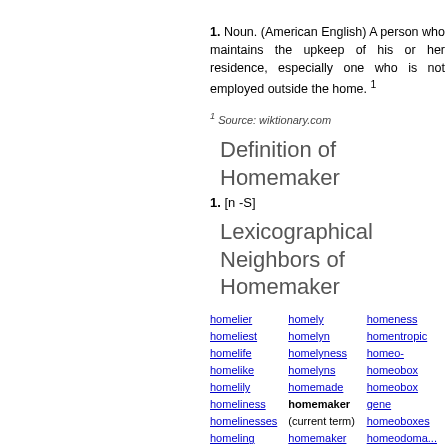1. Noun. (American English) A person who maintains the upkeep of his or her residence, especially one who is not employed outside the home. ¹
¹ Source: wiktionary.com
Definition of Homemaker
1. [n -S]
Lexicographical Neighbors of Homemaker
homelier homeliest homelife homelike homelily homeliness homelinesses homeling homelings homelives | homely homelyn homelyness homelyns homemade homemaker (current term) homemaker services homemakers | homeness homentropic homeo- homeobox homeobox gene homeoboxes homeodomain homeodomain proteins